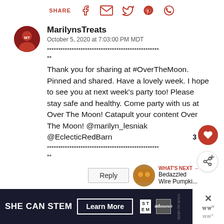SHARE [facebook] [email] [twitter] [pinterest] [whatsapp]
MarilynsTreats
October 5, 2020 at 7:03:00 PM MDT
************************************************** **
Thank you for sharing at #OverTheMoon. Pinned and shared. Have a lovely week. I hope to see you at next week's party too! Please stay safe and healthy. Come party with us at Over The Moon! Catapult your content Over The Moon! @marilyn_lesniak @EclecticRedBarn
************************************************** **
Reply
WHAT'S NEXT → Bedazzled Wire Pumpki...
[Figure (infographic): SHE CAN STEM advertisement banner with Learn More button, STEM logo, Ad Council logo, and close/watermark icons on the right]